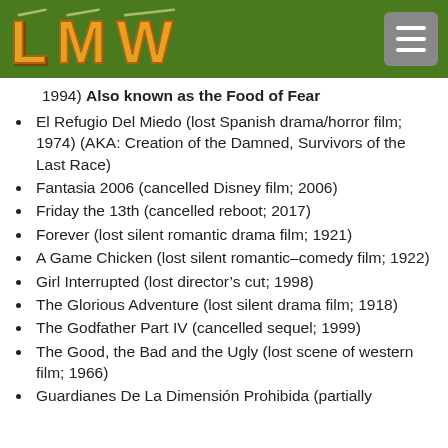LMW logo and navigation
1994) Also known as the Food of Fear
El Refugio Del Miedo (lost Spanish drama/horror film; 1974) (AKA: Creation of the Damned, Survivors of the Last Race)
Fantasia 2006 (cancelled Disney film; 2006)
Friday the 13th (cancelled reboot; 2017)
Forever (lost silent romantic drama film; 1921)
A Game Chicken (lost silent romantic–comedy film; 1922)
Girl Interrupted (lost director's cut; 1998)
The Glorious Adventure (lost silent drama film; 1918)
The Godfather Part IV (cancelled sequel; 1999)
The Good, the Bad and the Ugly (lost scene of western film; 1966)
Guardianes De La Dimensión Prohibida (partially